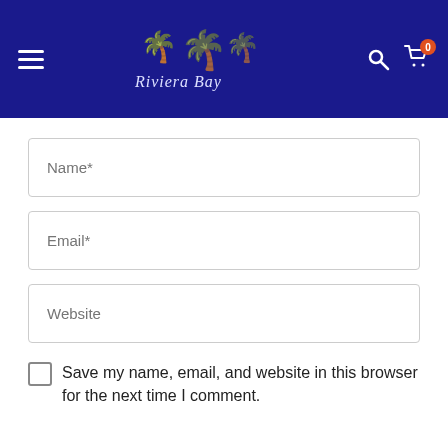[Figure (screenshot): Website navigation header with dark blue background, hamburger menu icon on left, 'Riviera Bay' logo in center with palm tree illustrations, search icon and shopping cart icon with badge showing '0' on right]
Name*
Email*
Website
Save my name, email, and website in this browser for the next time I comment.
POST COMMENT